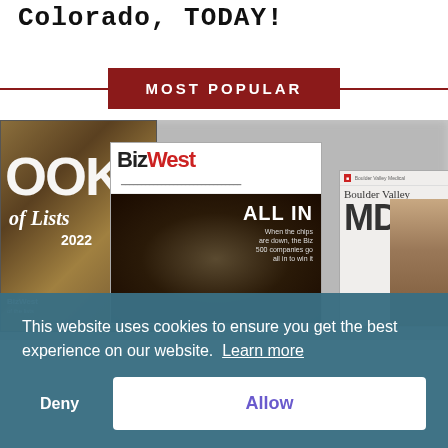Colorado, TODAY!
MOST POPULAR
[Figure (photo): Stack of magazine covers including Book of Lists 2022, BizWest 'All In' issue, and Boulder Valley MD magazine]
This website uses cookies to ensure you get the best experience on our website. Learn more
Deny
Allow